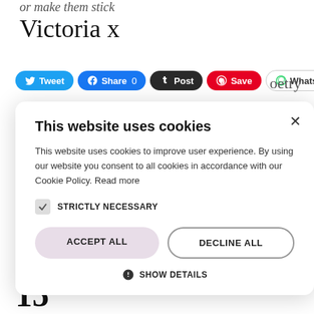or make them stick
Victoria x
[Figure (screenshot): Social share buttons: Tweet, Share 0 (Facebook), Post (Tumblr), Save (Pinterest), WhatsApp]
[Figure (screenshot): Cookie consent modal: 'This website uses cookies'. Body text: 'This website uses cookies to improve user experience. By using our website you consent to all cookies in accordance with our Cookie Policy. Read more'. Checkbox 'STRICTLY NECESSARY'. Buttons: ACCEPT ALL, DECLINE ALL. Link: SHOW DETAILS.]
oetry
15